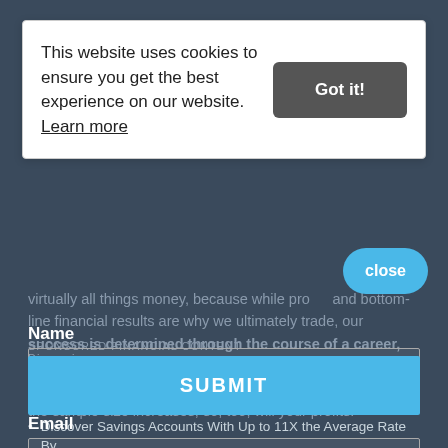[Figure (screenshot): Dark-themed financial website background showing text about trading success, with overlaid cookie consent banner and email signup form.]
virtually all things money, because while profits and bottom-line financial results are why we ultimately trade, our success is determined through the course of a career, not on a trade-by-trade, monthly, or even yearly basis Stay patient, generate small but consistent wins, and as the sample size increases, so, too, will your profits.
This website uses cookies to ensure you get the best experience on our website. Learn more
Got it!
close
Name
Email
SUBMIT
SPONSORED FINANCIAL CONTENT   Dianomi
5 "Forever" Dividend Stocks to Buy and Hold for a Carefree Retirement
Wealthy Retirement
Discover Savings Accounts With Up to 11X the Average Rate By...